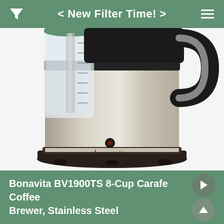< New Filter Time! >
[Figure (photo): Bonavita BV1900TS 8-Cup Carafe Coffee Brewer with stainless steel thermal carafe and black top, showing the base, water reservoir with measurement markings, and the Bonavita logo on the base.]
Bonavita BV1900TS 8-Cup Carafe Coffee Brewer, Stainless Steel